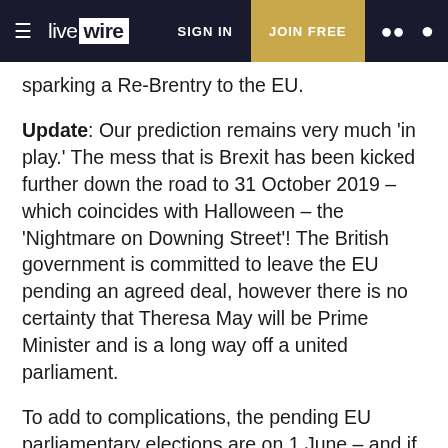live wire | SIGN IN | JOIN FREE
sparking a Re-Brentry to the EU.
Update: Our prediction remains very much 'in play.' The mess that is Brexit has been kicked further down the road to 31 October 2019 – which coincides with Halloween – the 'Nightmare on Downing Street'! The British government is committed to leave the EU pending an agreed deal, however there is no certainty that Theresa May will be Prime Minister and is a long way off a united parliament.
To add to complications, the pending EU parliamentary elections are on 1 June – and if the UK decides NOT to participate, they will immediately leave the EU with 'no deal.' If they do agree to participate, then a full re-negotiation or second